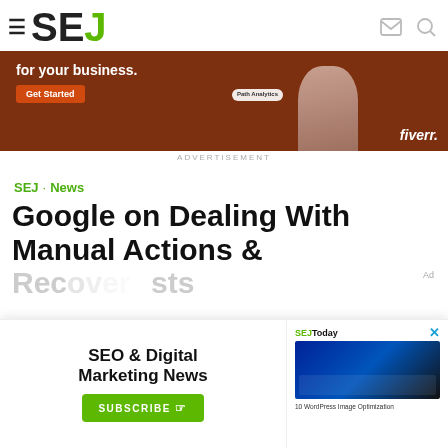SEJ (Search Engine Journal) website header with logo and navigation icons
[Figure (screenshot): Fiverr advertisement banner with orange/brown background, 'for your business.' text, Get Started button, woman photo, and Fiverr logo]
ADVERTISEMENT
SEJ · News
Google on Dealing With Manual Actions &
[Figure (screenshot): SEO & Digital Marketing News newsletter subscription overlay with Subscribe button and SEJToday panel showing WordPress article]